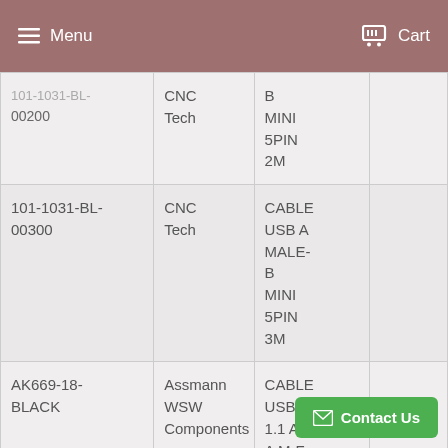Menu  Cart
|  |  |  |  |
| --- | --- | --- | --- |
| 101-1031-BL-00200 | CNC Tech | B MINI 5PIN 2M |  |
| 101-1031-BL-00300 | CNC Tech | CABLE USB A MALE-B MINI 5PIN 3M |  |
| AK669-18-BLACK | Assmann WSW Components | CABLE USB 1.1 A-A M-F |  |